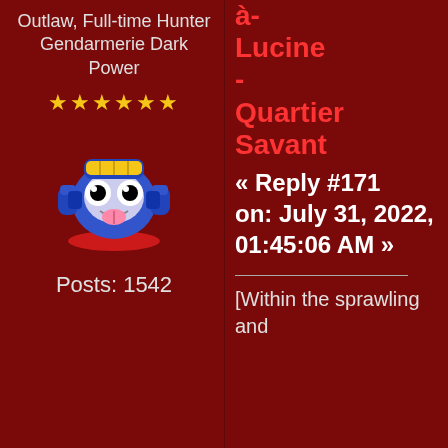Outlaw, Full-time Hunter Gendarmerie Dark Power
★★★★★★
[Figure (illustration): Cartoon robot character avatar — a round blue robot with big white eyes, yellow visor band on head, blue robot arms on sides, pink tongue sticking out, sitting on a red base]
Posts: 1542
à-Lucine - Quartier Savant
« Reply #171 on: July 31, 2022, 01:45:06 AM »
[Within the sprawling and